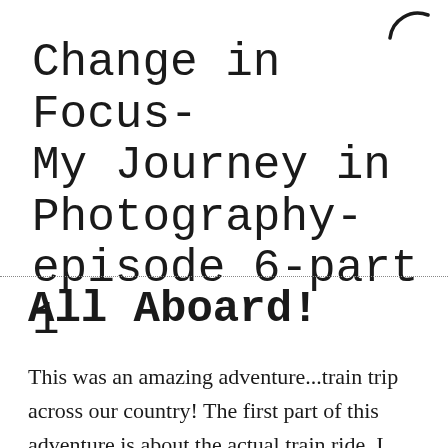[Figure (logo): Partial circular logo or icon in top right corner]
Change in Focus- My Journey in Photography- episode 6-part 1
All Aboard!
This was an amazing adventure...train trip across our country! The first part of this adventure is about the actual train ride. I